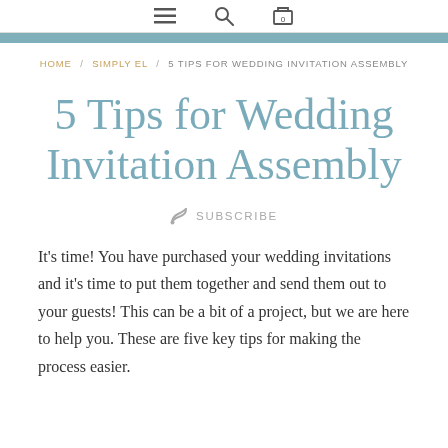≡  🔍  🛒 0
HOME / SIMPLY EL / 5 TIPS FOR WEDDING INVITATION ASSEMBLY
5 Tips for Wedding Invitation Assembly
SUBSCRIBE
It's time! You have purchased your wedding invitations and it's time to put them together and send them out to your guests! This can be a bit of a project, but we are here to help you. These are five key tips for making the process easier.